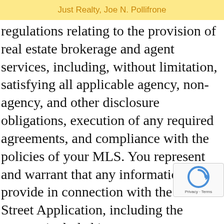Just Realty, Joe N. Pollifrone
regulations relating to the provision of real estate brokerage and agent services, including, without limitation, satisfying all applicable agency, non-agency, and other disclosure obligations, execution of any required agreements, and compliance with the policies of your MLS. You represent and warrant that any information you provide in connection with the Elm Street Application, including the content included in your account profile or any other feature or service of the Elm Street Application is true, accurate, and complete, and that you agree to update that information in order to maintain its truthfulness, accuracy completeness. You will defend, indemnify ar harmless Elm Street, and its members, managers,